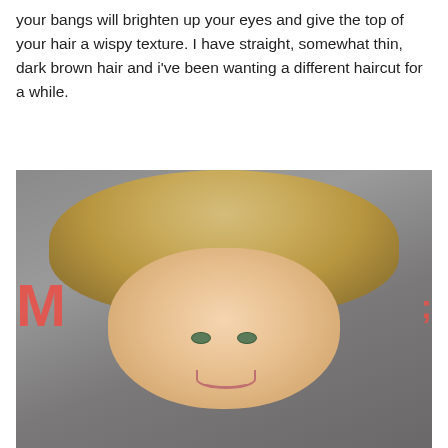your bangs will brighten up your eyes and give the top of your hair a wispy texture. I have straight, somewhat thin, dark brown hair and i've been wanting a different haircut for a while.
[Figure (photo): A woman with a short blonde bob haircut with side-swept bangs, smiling at the camera. Background shows partial red/pink letters of a sign. The hairstyle is a layered short cut with highlights.]